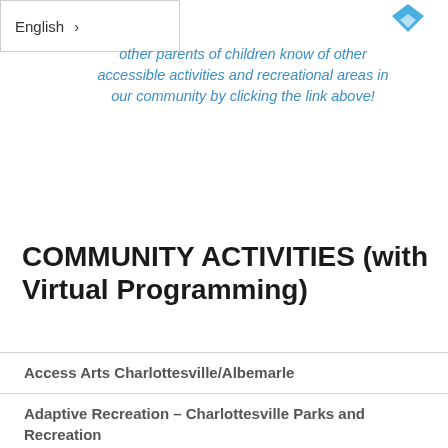English >
other parents of children know of other accessible activities and recreational areas in our community by clicking the link above!
COMMUNITY ACTIVITIES (with Virtual Programming)
Access Arts Charlottesville/Albemarle
Adaptive Recreation – Charlottesville Parks and Recreation
Autism Allies at UVA
Best Buddies at UVA